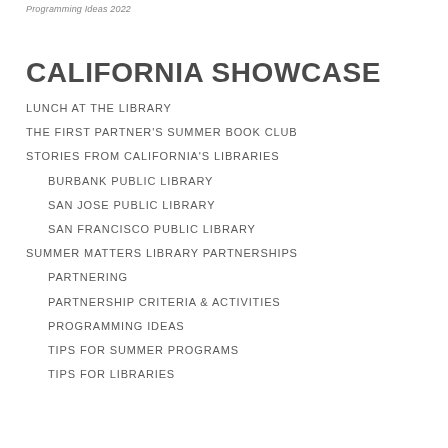Programming Ideas 2022
CALIFORNIA SHOWCASE
LUNCH AT THE LIBRARY
THE FIRST PARTNER'S SUMMER BOOK CLUB
STORIES FROM CALIFORNIA'S LIBRARIES
BURBANK PUBLIC LIBRARY
SAN JOSE PUBLIC LIBRARY
SAN FRANCISCO PUBLIC LIBRARY
SUMMER MATTERS LIBRARY PARTNERSHIPS
PARTNERING
PARTNERSHIP CRITERIA & ACTIVITIES
PROGRAMMING IDEAS
TIPS FOR SUMMER PROGRAMS
TIPS FOR LIBRARIES